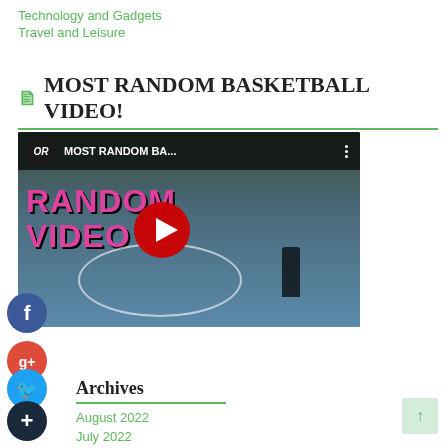Technology and Gadgets
Travel and Leisure
MOST RANDOM BASKETBALL VIDEO!
[Figure (screenshot): YouTube video thumbnail for 'MOST RANDOM BASKETBALL VIDEO!' showing a basketball court scene with pink/magenta text overlay and a red play button.]
Archives
August 2022
July 2022